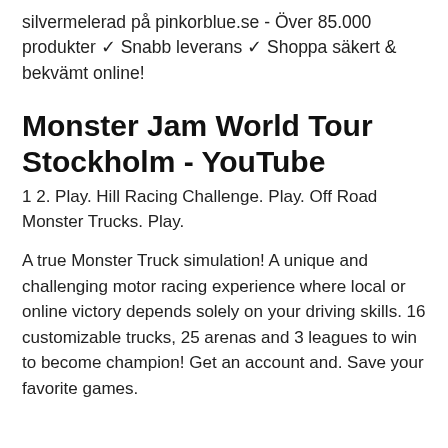silvermelerad på pinkorblue.se - Över 85.000 produkter ✓ Snabb leverans ✓ Shoppa säkert & bekvämt online!
Monster Jam World Tour Stockholm - YouTube
1 2. Play. Hill Racing Challenge. Play. Off Road Monster Trucks. Play.
A true Monster Truck simulation! A unique and challenging motor racing experience where local or online victory depends solely on your driving skills. 16 customizable trucks, 25 arenas and 3 leagues to win to become champion! Get an account and. Save your favorite games.